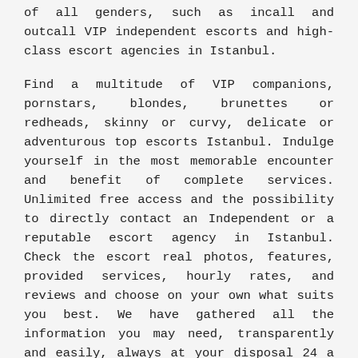of all genders, such as incall and outcall VIP independent escorts and high-class escort agencies in Istanbul.
Find a multitude of VIP companions, pornstars, blondes, brunettes or redheads, skinny or curvy, delicate or adventurous top escorts Istanbul. Indulge yourself in the most memorable encounter and benefit of complete services. Unlimited free access and the possibility to directly contact an Independent or a reputable escort agency in Istanbul. Check the escort real photos, features, provided services, hourly rates, and reviews and choose on your own what suits you best. We have gathered all the information you may need, transparently and easily, always at your disposal 24 a day.
Would you like to spend some time in the company of an escort girl while visiting Istanbul but don't know where to choose from? Then you have come to the right place. On our directory, you will find the most renowned sex service providers in Istanbul and nearby areas. Our system is